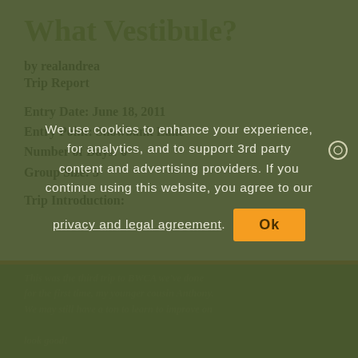What Vestibule?
by realandrea
Trip Report
Entry Date: June 18, 2011
Entry Point: Snowbank Lake
Number of Days: 6
Group Size: 3
Trip Introduction:
We use cookies to enhance your experience, for analytics, and to support 3rd party content and advertising providers. If you continue using this website, you agree to our privacy and legal agreement. Ok